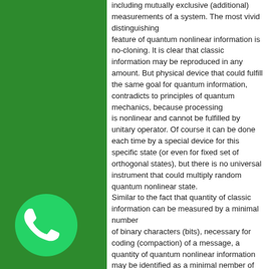including mutually exclusive (additional) measurements of a system. The most vivid distinguishing feature of quantum nonlinear information is no-cloning. It is clear that classic information may be reproduced in any amount. But physical device that could fulfill the same goal for quantum information, contradicts to principles of quantum mechanics, because processing is nonlinear and cannot be fulfilled by unitary operator. Of course it can be done each time by a special device for this specific state (or even for fixed set of orthogonal states), but there is no universal instrument that could multiply random quantum nonlinear state. Similar to the fact that quantity of classic information can be measured by a minimal number of binary characters (bits), necessary for coding (compaction) of a message, a quantity of quantum nonlinear information may be identified as a minimal nember of elementary quantum systems with two levels (q-bits), necessary for starage or transmitting of given assembly of quantum states. It was stated (Schumaher-Josa) that for asymptotically exact transmitting of quantum nonlinear message of
[Figure (logo): WhatsApp logo — green circle with white phone handset icon]